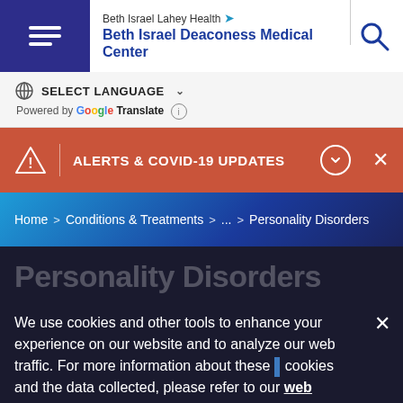[Figure (screenshot): Beth Israel Lahey Health / Beth Israel Deaconess Medical Center website header with hamburger menu, logo, and search icon]
Beth Israel Lahey Health Beth Israel Deaconess Medical Center
SELECT LANGUAGE  Powered by Google Translate
ALERTS & COVID-19 UPDATES
Home > Conditions & Treatments > ... > Personality Disorders
Personality Disorders
We use cookies and other tools to enhance your experience on our website and to analyze our web traffic. For more information about these cookies and the data collected, please refer to our web privacy statement.
Personality disorders refer to a group